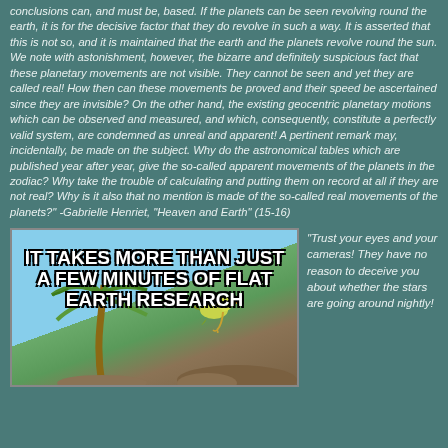conclusions can, and must be, based. If the planets can be seen revolving round the earth, it is for the decisive factor that they do revolve in such a way. It is asserted that this is not so, and it is maintained that the earth and the planets revolve round the sun. We note with astonishment, however, the bizarre and definitely suspicious fact that these planetary movements are not visible. They cannot be seen and yet they are called real! How then can these movements be proved and their speed be ascertained since they are invisible? On the other hand, the existing geocentric planetary motions which can be observed and measured, and which, consequently, constitute a perfectly valid system, are condemned as unreal and apparent! A pertinent remark may, incidentally, be made on the subject. Why do the astronomical tables which are published year after year, give the so-called apparent movements of the planets in the zodiac? Why take the trouble of calculating and putting them on record at all if they are not real? Why is it also that no mention is made of the so-called real movements of the planets?"  -Gabrielle Henriet, "Heaven and Earth" (15-16)
[Figure (photo): Meme image showing palm trees against a blue sky with a bird. Text overlay reads: IT TAKES MORE THAN JUST A FEW MINUTES OF FLAT EARTH RESEARCH]
"Trust your eyes and your cameras! They have no reason to deceive you about whether the stars are going around nightly!